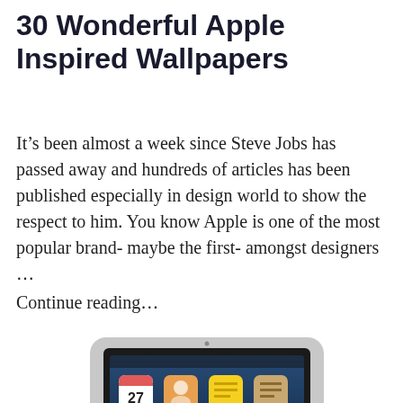30 Wonderful Apple Inspired Wallpapers
It’s been almost a week since Steve Jobs has passed away and hundreds of articles has been published especially in design world to show the respect to him. You know Apple is one of the most popular brand- maybe the first- amongst designers …
Continue reading…
[Figure (photo): Partial view of an iPad showing the home screen with app icons including Calendar, Contacts, Notes, and others, in a grey case/bezel. A small dark back-to-top button with an upward chevron is visible in the lower right corner.]